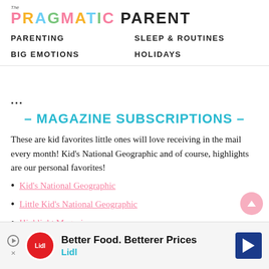The Pragmatic Parent — PARENTING | SLEEP & ROUTINES | BIG EMOTIONS | HOLIDAYS
– MAGAZINE SUBSCRIPTIONS –
These are kid favorites little ones will love receiving in the mail every month! Kid's National Geographic and of course, highlights are our personal favorites!
Kid's National Geographic
Little Kid's National Geographic
Highlight Magazine
Ladybug
[Figure (other): Lidl advertisement banner: Better Food. Betterer Prices — Lidl]